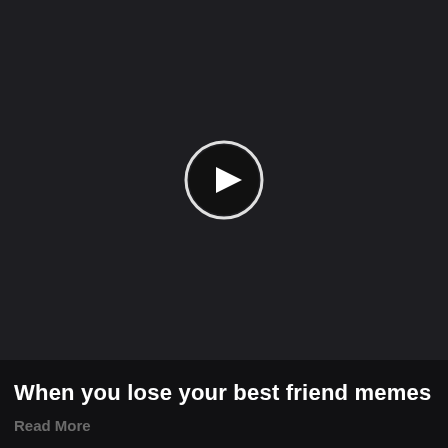[Figure (screenshot): Dark background video thumbnail with a circular play button in the center. The circle has a white border, dark interior, and a white play triangle pointing right. The bottom portion shows a slightly darker panel with text.]
When you lose your best friend memes
Read More